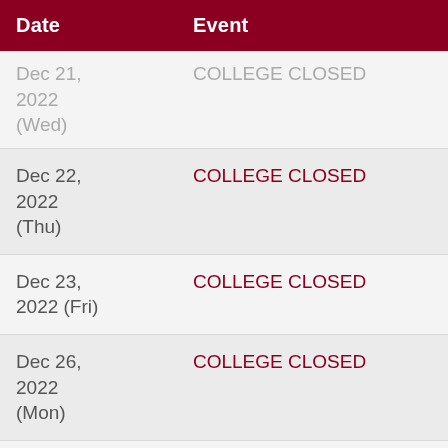| Date | Event |
| --- | --- |
| Dec 21, 2022 (Wed) | COLLEGE CLOSED |
| Dec 22, 2022 (Thu) | COLLEGE CLOSED |
| Dec 23, 2022 (Fri) | COLLEGE CLOSED |
| Dec 26, 2022 (Mon) | COLLEGE CLOSED |
| Jan 2, 2023 (Mon) | COLLEGE CLOSED: New Year's Day |